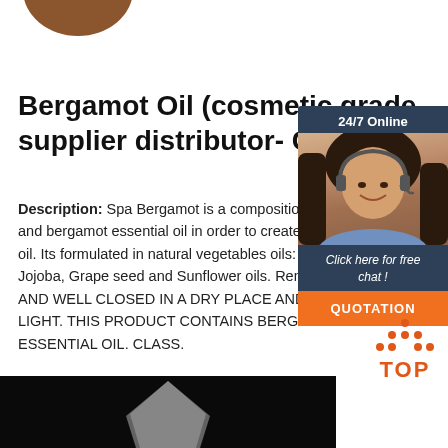[Figure (photo): Partial product image at top left, brown rounded object (bergamot oil container)]
Bergamot Oil (cosmetic grade supplier distributor- CAS ...
Description: Spa Bergamot is a composition of various and bergamot essential oil in order to create a massage oil. Its formulated in natural vegetables oils: Sweet Almond, Jojoba, Grape seed and Sunflower oils. Remarks: STORE AND WELL CLOSED IN A DRY PLACE AND AWAY FROM LIGHT. THIS PRODUCT CONTAINS BERGAMOT ESSENTIAL OIL. CLASS.
[Figure (photo): 24/7 Online chat widget with photo of woman with headset, 'Click here for free chat!' text, and orange QUOTATION button]
[Figure (other): Orange TOP button with dot pattern forming a house/arrow shape above the word TOP]
[Figure (photo): Bottom partial image showing dark background with grey pointed shape, appears to be a product or object]
Get Price